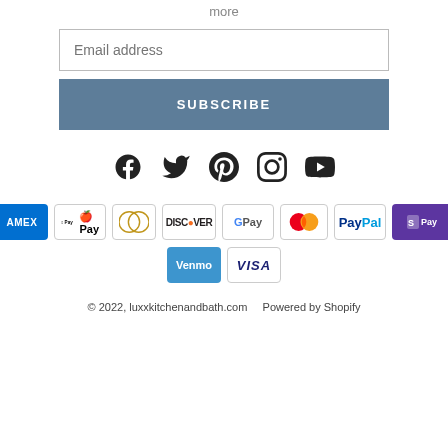more
Email address
SUBSCRIBE
[Figure (illustration): Social media icons: Facebook, Twitter, Pinterest, Instagram, YouTube]
[Figure (illustration): Payment method logos: American Express, Apple Pay, Diners Club, Discover, Google Pay, Mastercard, PayPal, Shop Pay, Venmo, Visa]
© 2022, luxxkitchenandbath.com   Powered by Shopify